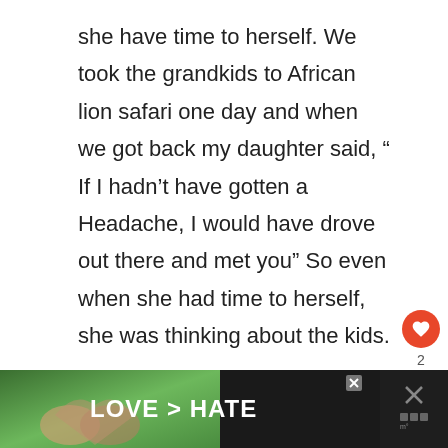she have time to herself. We took the grandkids to African lion safari one day and when we got back my daughter said, “ If I hadn’t have gotten a Headache, I would have drove out there and met you” So even when she had time to herself, she was thinking about the kids.
[Figure (other): Social interaction buttons: a red heart/like button with count of 2, and a share button]
[Figure (photo): Advertisement banner at the bottom showing hands forming a heart shape against a green background, with text 'LOVE > HATE' in bold white letters on dark background, close button, and a logo on the right]